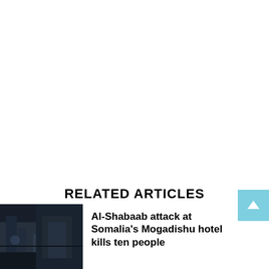RELATED ARTICLES
[Figure (photo): Dark news photograph showing a scene related to Al-Shabaab attack in Mogadishu]
Al-Shabaab attack at Somalia's Mogadishu hotel kills ten people